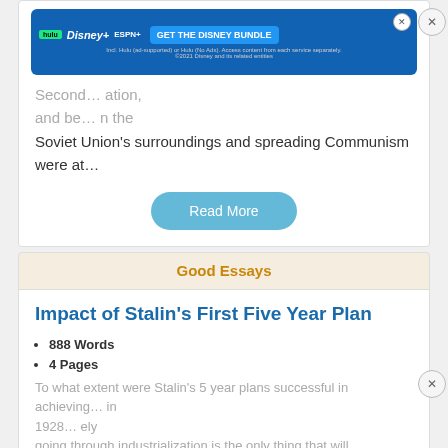[Figure (screenshot): Disney Bundle advertisement banner with Hulu, Disney+, ESPN+ logos and GET THE DISNEY BUNDLE button]
Second... ation, and be... in the Soviet Union's surroundings and spreading Communism were at…
Read More
Good Essays
Impact of Stalin's First Five Year Plan
888 Words
4 Pages
To what extent were Stalin's 5 year plans successful in achieving... in 1928... going through industrialization is the only thing that will
[Figure (screenshot): Disney Bundle advertisement banner with Hulu, Disney+, ESPN+ logos and GET THE DISNEY BUNDLE button]